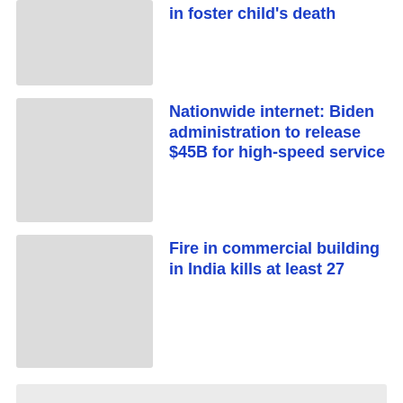[Figure (photo): Placeholder thumbnail image for first news article (partially visible at top)]
in foster child's death
[Figure (photo): Placeholder thumbnail image for second news article]
Nationwide internet: Biden administration to release $45B for high-speed service
[Figure (photo): Placeholder thumbnail image for third news article]
Fire in commercial building in India kills at least 27
[Figure (photo): Large placeholder image at the bottom of the page]